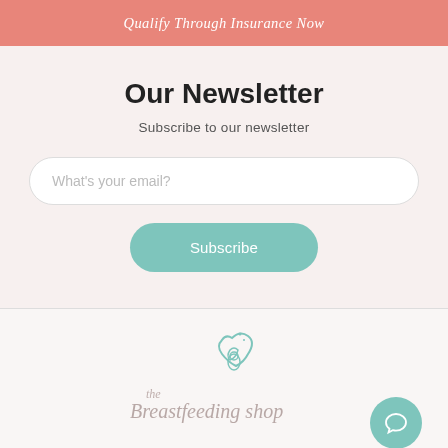Qualify Through Insurance Now
Our Newsletter
Subscribe to our newsletter
What's your email?
Subscribe
[Figure (logo): The Breastfeeding Shop logo with stylized nursing figure and script text]